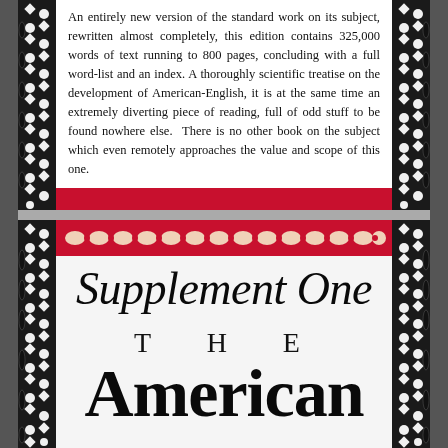[Figure (photo): Top half of a book dust jacket with decorative black border panels on left and right featuring diamond and circle patterns. White center area with descriptive text about the book, ending with a red band at the bottom.]
An entirely new version of the standard work on its subject, rewritten almost completely, this edition contains 325,000 words of text running to 800 pages, concluding with a full word-list and an index. A thoroughly scientific treatise on the development of American-English, it is at the same time an extremely diverting piece of reading, full of odd stuff to be found nowhere else. There is no other book on the subject which even remotely approaches the value and scope of this one.
[Figure (photo): Bottom half of a book dust jacket. Black decorative border panels on left and right. At top a red ornamental band with cream-colored decorative pattern. Large italic title 'Supplement One' below, then 'THE' in spaced caps, then large bold 'American' partially visible at bottom.]
Supplement One
THE
American